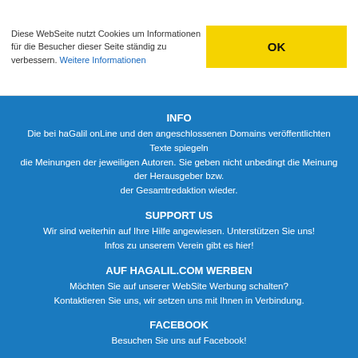Diese WebSeite nutzt Cookies um Informationen für die Besucher dieser Seite ständig zu verbessern. Weitere Informationen
INFO
Die bei haGalil onLine und den angeschlossenen Domains veröffentlichten Texte spiegeln die Meinungen der jeweiligen Autoren. Sie geben nicht unbedingt die Meinung der Herausgeber bzw. der Gesamtredaktion wieder.
SUPPORT US
Wir sind weiterhin auf Ihre Hilfe angewiesen. Unterstützen Sie uns! Infos zu unserem Verein gibt es hier!
AUF HAGALIL.COM WERBEN
Möchten Sie auf unserer WebSite Werbung schalten? Kontaktieren Sie uns, wir setzen uns mit Ihnen in Verbindung.
FACEBOOK
Besuchen Sie uns auf Facebook!
Copyright 1995-2022 hagalil.com – Alle Rechte Vorbehalten
[Figure (illustration): Star of David (Magen David) white outline symbol]